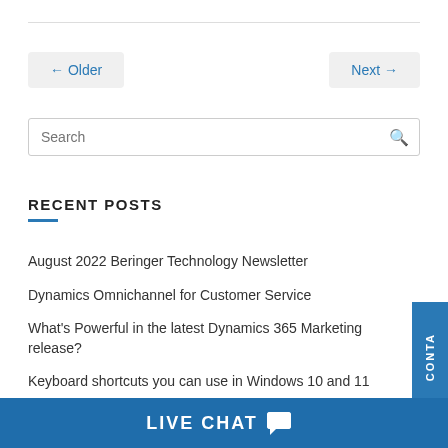← Older
Next →
Search
RECENT POSTS
August 2022 Beringer Technology Newsletter
Dynamics Omnichannel for Customer Service
What's Powerful in the latest Dynamics 365 Marketing release?
Keyboard shortcuts you can use in Windows 10 and 11
CONTA
LIVE CHAT